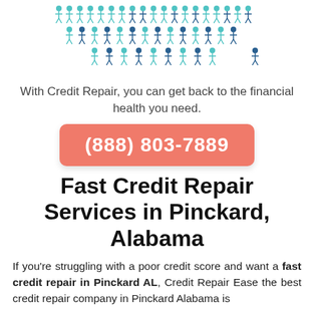[Figure (illustration): Decorative illustration of many small person icons arranged in a triangular/inverted triangle pattern, colored in shades of blue and teal, representing a crowd of people.]
With Credit Repair, you can get back to the financial health you need.
(888) 803-7889
Fast Credit Repair Services in Pinckard, Alabama
If you’re struggling with a poor credit score and want a fast credit repair in Pinckard AL, Credit Repair Ease the best credit repair company in Pinckard Alabama is